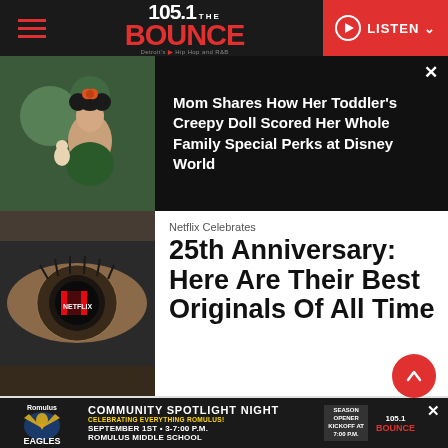105.1 THE BOUNCE | Detroit's #1 Hip Hop and R&B | LISTEN
[Figure (screenshot): Article card: child in Minnie Mouse ears holding a doll, dark background]
Mom Shares How Her Toddler's Creepy Doll Scored Her Whole Family Special Perks at Disney World
[Figure (photo): Close-up of an eye with Netflix logo reflected in it]
Netflix Celebrates 25th Anniversary: Here Are Their Best Originals Of All Time
[Figure (photo): Serena Williams in athletic wear, close-up portrait]
August 30, 2022
Serena Williams: The
[Figure (screenshot): Ad banner: Romulus Eagles Community Spotlight Night, September 1st, 3-7:00 PM, Romulus Middle School, Season Opener Kickoff at 7:00 PM, 105.1 Bounce]